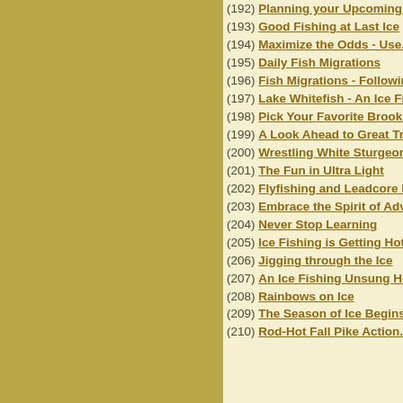(192) Planning your Upcoming A...
(193) Good Fishing at Last Ice
(194) Maximize the Odds - Use...
(195) Daily Fish Migrations
(196) Fish Migrations - Following...
(197) Lake Whitefish - An Ice Fis...
(198) Pick Your Favorite Brook T...
(199) A Look Ahead to Great Tro...
(200) Wrestling White Sturgeon...
(201) The Fun in Ultra Light
(202) Flyfishing and Leadcore Li...
(203) Embrace the Spirit of Adve...
(204) Never Stop Learning
(205) Ice Fishing is Getting Hot...
(206) Jigging through the Ice
(207) An Ice Fishing Unsung He...
(208) Rainbows on Ice
(209) The Season of Ice Begins
(210) Rod-Hot Fall Pike Action...